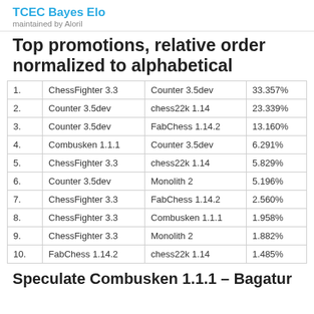TCEC Bayes Elo
maintained by Aloril
Top promotions, relative order normalized to alphabetical
|  | Col1 | Col2 | Pct |
| --- | --- | --- | --- |
| 1. | ChessFighter 3.3 | Counter 3.5dev | 33.357% |
| 2. | Counter 3.5dev | chess22k 1.14 | 23.339% |
| 3. | Counter 3.5dev | FabChess 1.14.2 | 13.160% |
| 4. | Combusken 1.1.1 | Counter 3.5dev | 6.291% |
| 5. | ChessFighter 3.3 | chess22k 1.14 | 5.829% |
| 6. | Counter 3.5dev | Monolith 2 | 5.196% |
| 7. | ChessFighter 3.3 | FabChess 1.14.2 | 2.560% |
| 8. | ChessFighter 3.3 | Combusken 1.1.1 | 1.958% |
| 9. | ChessFighter 3.3 | Monolith 2 | 1.882% |
| 10. | FabChess 1.14.2 | chess22k 1.14 | 1.485% |
Speculate Combusken 1.1.1 – Bagatur